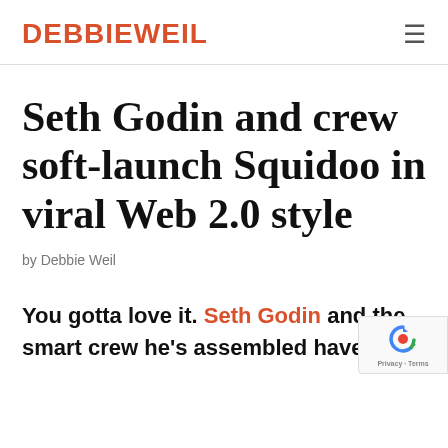DEBBIEWEIL
Seth Godin and crew soft-launch Squidoo in viral Web 2.0 style
by Debbie Weil
You gotta love it. Seth Godin and the smart crew he's assembled have